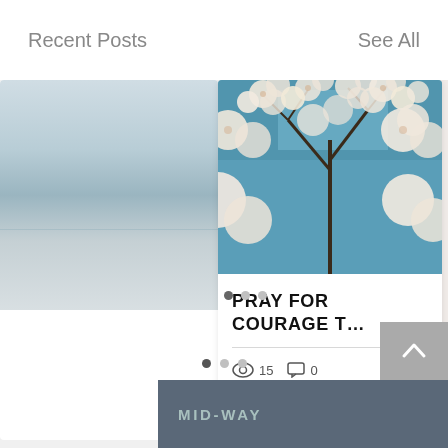Recent Posts   See All
[Figure (photo): Blog post card showing cherry blossoms against a blue sky, with title 'PRAY FOR COURAGE T...' and engagement stats: 15 views, 0 comments, heart/like icon]
PRAY FOR COURAGE T...
15
0
MID-WAY